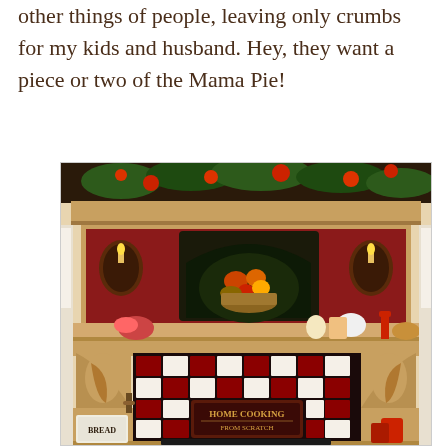other things of people, leaving only crumbs for my kids and husband. Hey, they want a piece or two of the Mama Pie!
[Figure (photo): A decorated kitchen fireplace mantel with ornate wooden surround, a fruit still-life painting in an arched niche, candle sconces, decorative items on the mantel shelf, a red and white checkerboard tile backsplash with a 'HOME COOKING FROM SCRATCH' sign, and a bread box on the counter below.]